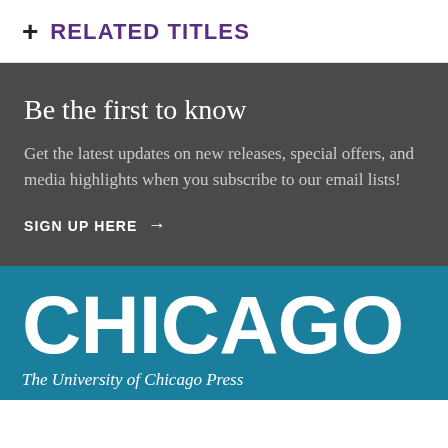+ RELATED TITLES
Be the first to know
Get the latest updates on new releases, special offers, and media highlights when you subscribe to our email lists!
SIGN UP HERE →
[Figure (logo): University of Chicago Press logo — CHICAGO in large bold white text on teal background, with 'The University of Chicago Press' below in italic white text]